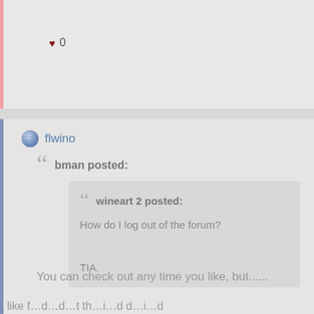❤ 0
flwino
bman posted:
wineart 2 posted:
How do I log out of the forum?
TIA.
You can check out any time you like, but......
like f...d...d...t th...i...d d...i...d